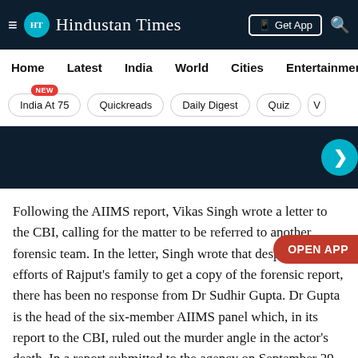Hindustan Times — Get App
Home | Latest | India | World | Cities | Entertainment
India At 75 (NEW) | Quickreads | Daily Digest | Quiz | V
[Figure (other): Dark advertisement banner with a teal arrow button on the right]
Following the AIIMS report, Vikas Singh wrote a letter to the CBI, calling for the matter to be referred to another forensic team. In the letter, Singh wrote that despite the best efforts of Rajput's family to get a copy of the forensic report, there has been no response from Dr Sudhir Gupta. Dr Gupta is the head of the six-member AIIMS panel which, in its report to the CBI, ruled out the murder angle in the actor's death. In a report submitted to the agency on September 29, the panel had said there were 'no injuries on Rajput's body other than of hanging'